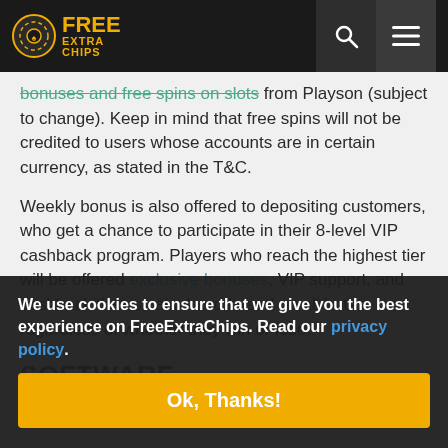FREE EXTRA CHIPS
bonuses and free spins on slots from Playson (subject to change). Keep in mind that free spins will not be credited to users whose accounts are in certain currency, as stated in the T&C.
Weekly bonus is also offered to depositing customers, who get a chance to participate in their 8-level VIP cashback program. Players who reach the highest tier will be offered exclusive bonuses, VIP support, and cashback that is calculated based on all bets, regardless of whether they win or lose.
SOFTWARE
Cookie banner: We use cookies to ensure that we give you the best experience on FreeExtraChips. Read our privacy policy. Ok, Thanks!